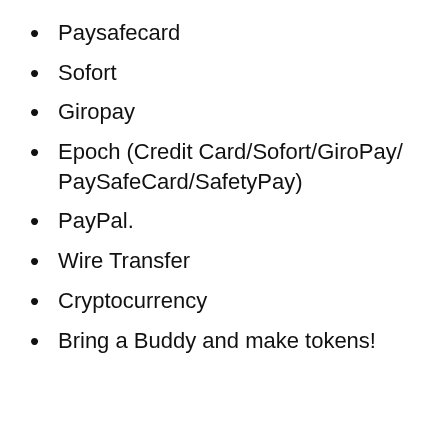Paysafecard
Sofort
Giropay
Epoch (Credit Card/Sofort/GiroPay/PaySafeCard/SafetyPay)
PayPal.
Wire Transfer
Cryptocurrency
Bring a Buddy and make tokens!